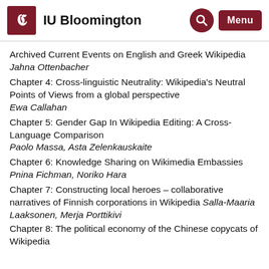IU Bloomington
Archived Current Events on English and Greek Wikipedia
Jahna Ottenbacher
Chapter 4: Cross-linguistic Neutrality: Wikipedia's Neutral Points of Views from a global perspective
Ewa Callahan
Chapter 5: Gender Gap In Wikipedia Editing: A Cross-Language Comparison
Paolo Massa, Asta Zelenkauskaite
Chapter 6: Knowledge Sharing on Wikimedia Embassies
Pnina Fichman, Noriko Hara
Chapter 7: Constructing local heroes – collaborative narratives of Finnish corporations in Wikipedia Salla-Maaria Laaksonen, Merja Porttikivi
Chapter 8: The political economy of the Chinese copycats of Wikipedia